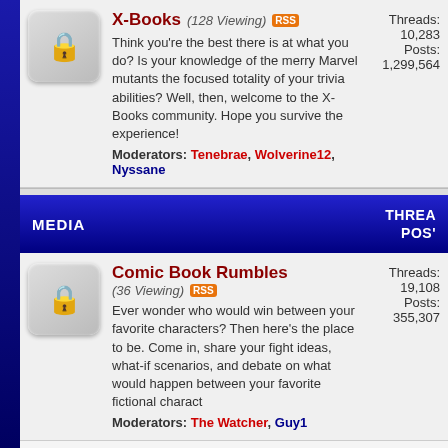X-Books (128 Viewing) Threads: 10,283 Posts: 1,299,564
Think you're the best there is at what you do? Is your knowledge of the merry Marvel mutants the focused totality of your trivia abilities? Well, then, welcome to the X-Books community. Hope you survive the experience! Moderators: Tenebrae, Wolverine12, Nyssane
MEDIA — THREADS / POSTS
Comic Book Rumbles (36 Viewing) Threads: 19,108 Posts: 355,307
Ever wonder who would win between your favorite characters? Then here's the place to be. Come in, share your fight ideas, what-if scenarios, and debate on what would happen between your favorite fictional charact Moderators: The Watcher, Guy1
Creator Showcase (2 Viewing) Threads: 2,098 Posts: 11,139
Show off your creative side! Share your sketches, drawings, paintings, fan-fic, poetry, animation, video...any kind of creative work. Also discuss tools, techniques, and resources related to your craft. Moderators: Tenebrae
Games (7 Viewing) Threads: 1,116 Posts: 40,432
RPG, PC, console, handheld, card, board, or miniature games... whatever you like to play, this is the place to discuss it. Moderators: Nyssane